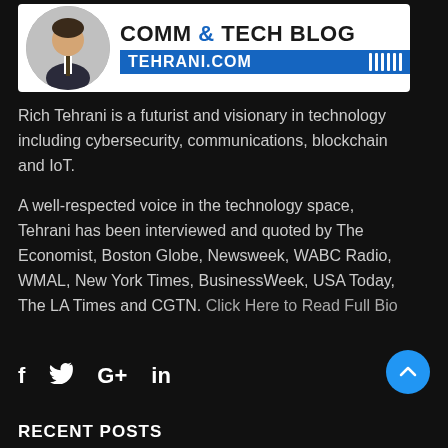[Figure (logo): Comm & Tech Blog banner with headshot photo and TEHRANI.COM branding on blue bar]
Rich Tehrani is a futurist and visionary in technology including cybersecurity, communications, blockchain and IoT.
A well-respected voice in the technology space, Tehrani has been interviewed and quoted by The Economist, Boston Globe, Newsweek, WABC Radio, WMAL, New York Times, BusinessWeek, USA Today, The LA Times and CGTN. Click Here to Read Full Bio
[Figure (other): Social media icons: Facebook (f), Twitter (bird), Google+ (G+), LinkedIn (in)]
RECENT POSTS